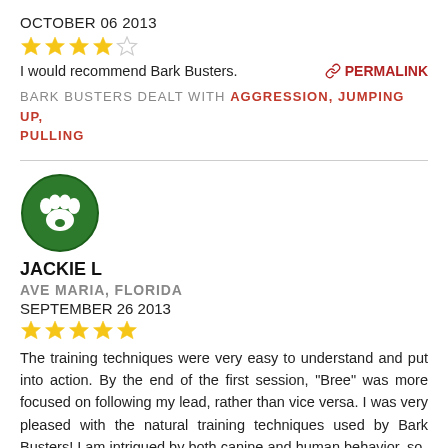OCTOBER 06 2013
[Figure (other): 4 out of 5 yellow stars rating]
I would recommend Bark Busters.
PERMALINK
BARK BUSTERS DEALT WITH AGGRESSION, JUMPING UP, PULLING
[Figure (logo): Bark Busters green circular logo with white paw print]
JACKIE L
AVE MARIA, FLORIDA
SEPTEMBER 26 2013
[Figure (other): 5 out of 5 yellow stars rating]
The training techniques were very easy to understand and put into action. By the end of the first session, "Bree" was more focused on following my lead, rather than vice versa. I was very pleased with the natural training techniques used by Bark Busters! I am intrigued by both canine and human behavior, so